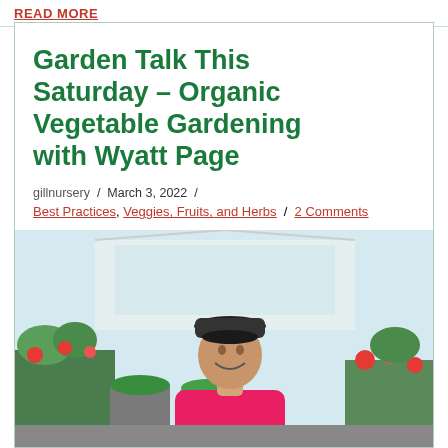READ MORE
Garden Talk This Saturday – Organic Vegetable Gardening with Wyatt Page
gillnursery  /  March 3, 2022  /
Best Practices, Veggies, Fruits, and Herbs  /  2 Comments
[Figure (photo): Photo of a smiling man in a pink/magenta shirt and backwards cap, standing in front of a greenhouse nursery with plants and flowers visible in the background]